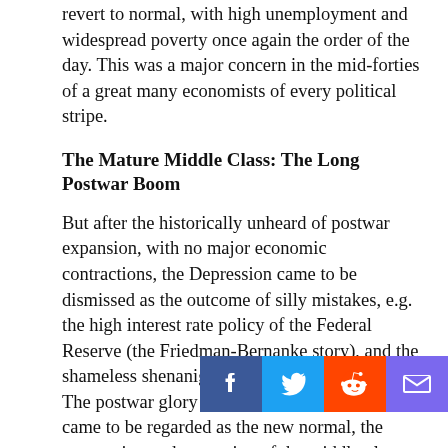revert to normal, with high unemployment and widespread poverty once again the order of the day. This was a major concern in the mid-forties of a great many economists of every political stripe.
The Mature Middle Class: The Long Postwar Boom
But after the historically unheard of postwar expansion, with no major economic contractions, the Depression came to be dismissed as the outcome of silly mistakes, e.g. the high interest rate policy of the Federal Reserve (the Friedman-Bernanke story), and the shameless shenanigans of profligate financiers. The postwar glory days (again for white people) came to be regarded as the new normal, the resumption and expansion of the middle-class society of the 1920s.
The record was truly spectacular: on the income of one (male) breadwinner, very many families were able to afford a house, at least one automobile, et a